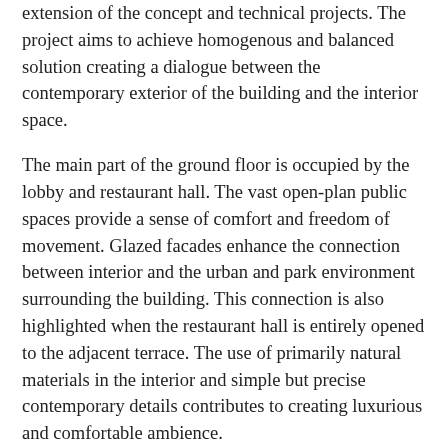extension of the concept and technical projects. The project aims to achieve homogenous and balanced solution creating a dialogue between the contemporary exterior of the building and the interior space.
The main part of the ground floor is occupied by the lobby and restaurant hall. The vast open-plan public spaces provide a sense of comfort and freedom of movement. Glazed facades enhance the connection between interior and the urban and park environment surrounding the building. This connection is also highlighted when the restaurant hall is entirely opened to the adjacent terrace. The use of primarily natural materials in the interior and simple but precise contemporary details contributes to creating luxurious and comfortable ambience.
The conference centre is a main functional unit in the hotel. Two spacious multipurpose halls, used separately or as one bigger space, have a total capacity of 300 seats. Vast entrance hall incorporates open-plan zones for meetings, discussions and recreation. The materials, lighting and finishing details provide a